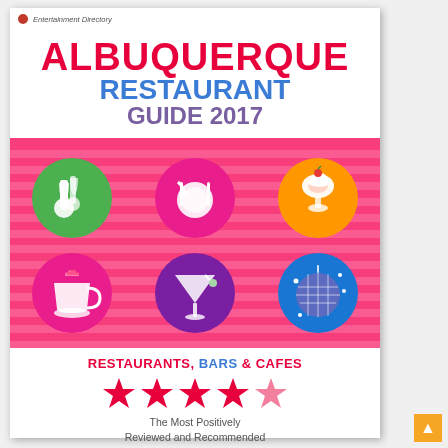Entertainment Directory
ALBUQUERQUE
RESTAURANT GUIDE 2017
[Figure (illustration): Six circular icons arranged in a 3x2 grid on a pink striped background. Top row: green circle with wine bottle and glasses, magenta circle with plate and utensils, orange circle with ice cream sundae. Bottom row: pink/magenta circle with coffee cup, purple circle with cocktail glass, blue circle with disco ball.]
RESTAURANTS, BARS & CAFES
[Figure (illustration): Five red/pink star rating symbols]
The Most Positively Reviewed and Recommended